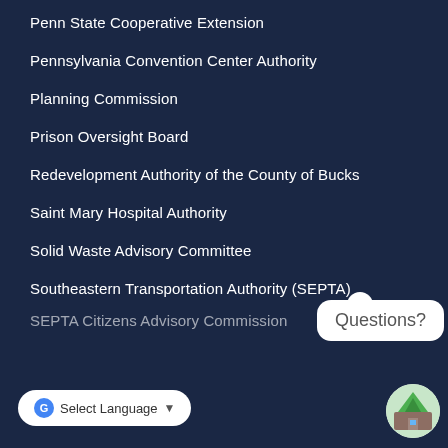Penn State Cooperative Extension
Pennsylvania Convention Center Authority
Planning Commission
Prison Oversight Board
Redevelopment Authority of the County of Bucks
Saint Mary Hospital Authority
Solid Waste Advisory Committee
Southeastern Transportation Authority (SEPTA)
SEPTA Citizens Advisory Commission